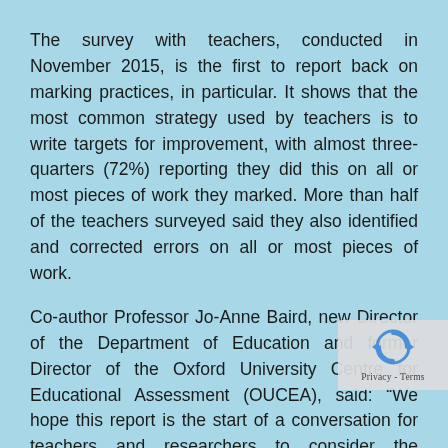The survey with teachers, conducted in November 2015, is the first to report back on marking practices, in particular. It shows that the most common strategy used by teachers is to write targets for improvement, with almost three-quarters (72%) reporting they did this on all or most pieces of work they marked. More than half of the teachers surveyed said they also identified and corrected errors on all or most pieces of work.
Co-author Professor Jo-Anne Baird, new Director of the Department of Education and former Director of the Oxford University Centre for Educational Assessment (OUCEA), said: “We hope this report is the start of a conversation for teachers and researchers to consider the effectiveness and sustainability of different marking approaches.”
Sir Kevan Collins, Chief Executive of the Education